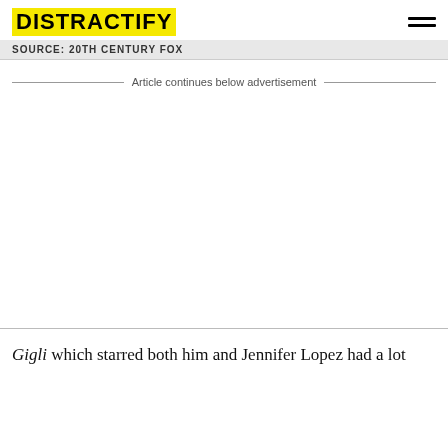DISTRACTIFY
SOURCE: 20TH CENTURY FOX
Article continues below advertisement
Gigli which starred both him and Jennifer Lopez had a lot